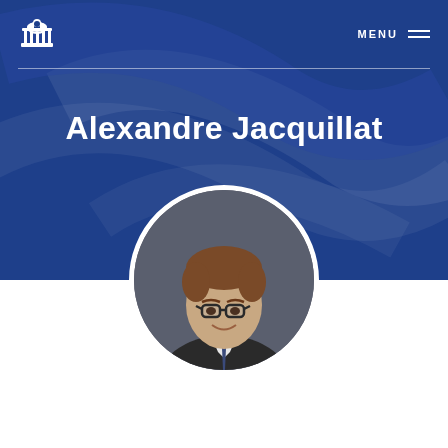MENU
Alexandre Jacquillat
[Figure (photo): Circular headshot of Alexandre Jacquillat, a young man with brown hair, glasses, wearing a dark suit and tie, smiling, against a grey background.]